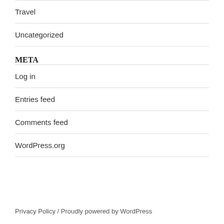Travel
Uncategorized
META
Log in
Entries feed
Comments feed
WordPress.org
Privacy Policy / Proudly powered by WordPress